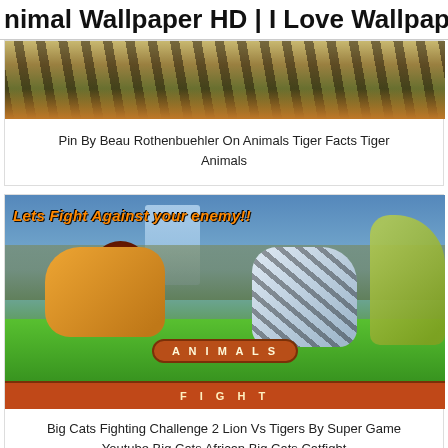Animal Wallpaper HD | I Love Wallpap…
[Figure (photo): Cropped photo of a tiger in a grassy wild environment, showing its striped body]
Pin By Beau Rothenbuehler On Animals Tiger Facts Tiger Animals
[Figure (screenshot): Screenshot of a mobile game showing animated lion vs white tiger fight with text 'Lets Fight Against your enemy!!' and 'ANIMALS' badge]
Big Cats Fighting Challenge 2 Lion Vs Tigers By Super Game Youtube Big Cats African Big Cats Catfight